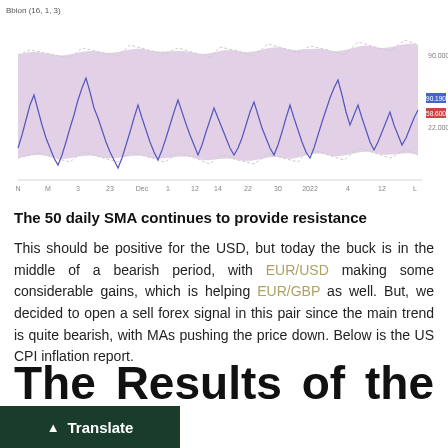[Figure (continuous-plot): Time series chart labeled 'Bbion (16, 1, 3)' showing oscillating price data with a shaded pink/purple band between upper and lower Bollinger Bands. A dark blue line oscillates within and occasionally outside the bands. Right side has price labels around 90.190 and 58.600. X-axis shows dates from November through January 2022.]
The 50 daily SMA continues to provide resistance
This should be positive for the USD, but today the buck is in the middle of a bearish period, with EUR/USD making some considerable gains, which is helping EUR/GBP as well. But, we decided to open a sell forex signal in this pair since the main trend is quite bearish, with MAs pushing the price down. Below is the US CPI inflation report.
The Results of the Highly-Anticipated December US